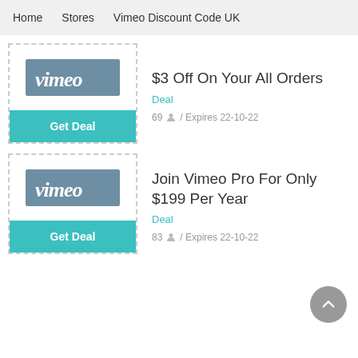Home   Stores   Vimeo Discount Code UK
[Figure (logo): Vimeo logo on grey background with Get Deal teal button below]
$3 Off On Your All Orders
Deal
69 / Expires 22-10-22
[Figure (logo): Vimeo logo on grey background with Get Deal teal button below]
Join Vimeo Pro For Only $199 Per Year
Deal
83 / Expires 22-10-22